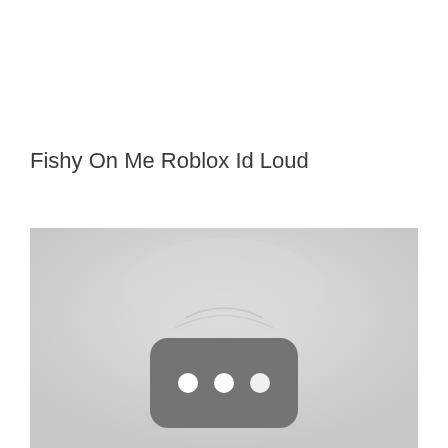Fishy On Me Roblox Id Loud
[Figure (screenshot): A grayscale image showing a blurred YouTube-like video thumbnail with a dark rounded rectangle in the center containing three white dots, set against a light gray gradient background.]